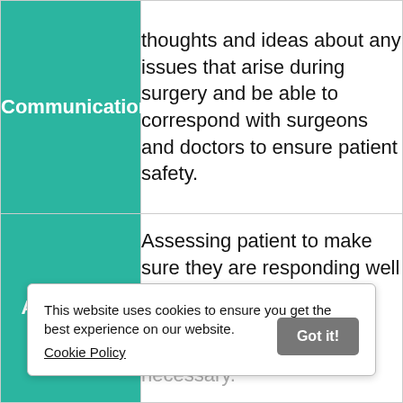| Category | Description |
| --- | --- |
| Communication | thoughts and ideas about any issues that arise during surgery and be able to correspond with surgeons and doctors to ensure patient safety. |
| Assessing | Assessing patient to make sure they are responding well to anesthesia and make improvements or take corrective action when necessary. |
This website uses cookies to ensure you get the best experience on our website. Cookie Policy